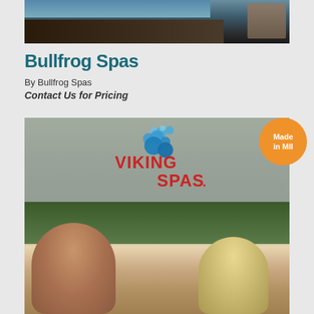[Figure (photo): Top portion of a hot tub/spa product against an outdoor background with deck]
Bullfrog Spas
By Bullfrog Spas
Contact Us for Pricing
[Figure (photo): Viking Spas logo overlaid on outdoor trees background, with two people (woman and girl) sitting in a hot tub smiling, badge reading Made in MII]
Made in MII